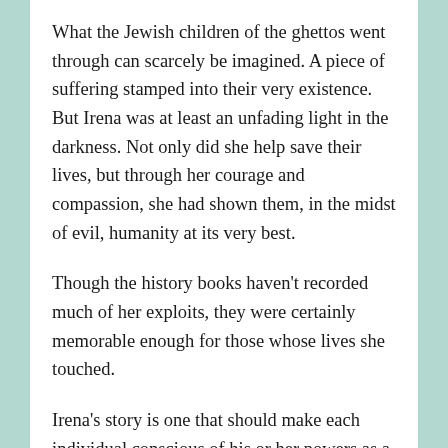What the Jewish children of the ghettos went through can scarcely be imagined. A piece of suffering stamped into their very existence. But Irena was at least an unfading light in the darkness. Not only did she help save their lives, but through her courage and compassion, she had shown them, in the midst of evil, humanity at its very best.
Though the history books haven't recorded much of her exploits, they were certainly memorable enough for those whose lives she touched.
Irena's story is one that should make each individual conscious of his or her powers as a complete moral being. That in service to others an otherwise ordinary person can achieve the extraordinary. Changing the world for the better one act of kindness at a time.